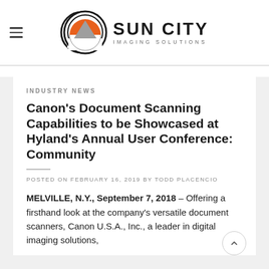[Figure (logo): Sun City Imaging Solutions logo: circular icon with orange sun and grey mountain peak, next to bold text 'SUN CITY' with 'IMAGING SOLUTIONS' in smaller spaced letters below.]
INDUSTRY NEWS
Canon’s Document Scanning Capabilities to be Showcased at Hyland’s Annual User Conference: Community
POSTED ON FEBRUARY 16, 2019 BY TODD PLACENCIO
MELVILLE, N.Y., September 7, 2018 – Offering a firsthand look at the company’s versatile document scanners, Canon U.S.A., Inc., a leader in digital imaging solutions,